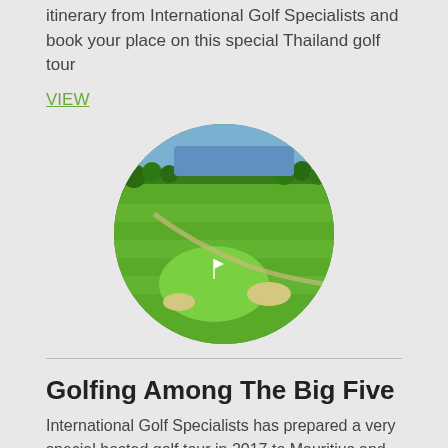itinerary from International Golf Specialists and book your place on this special Thailand golf tour
VIEW
[Figure (photo): Aerial circular-cropped photo of a golf course with green fairways, a putting green, sand traps, palm trees, and a lake or river in the background.]
Golfing Among The Big Five
International Golf Specialists has prepared a very special hosted golf tour in 2017 to Mauritius and South Africa that takes in world renown golf courses and